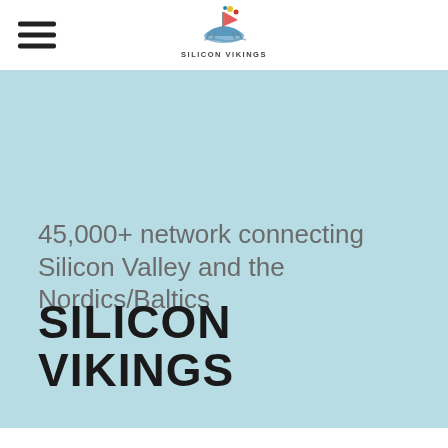SILICON VIKINGS
45,000+ network connecting Silicon Valley and the Nordics/Baltics
SILICON VIKINGS